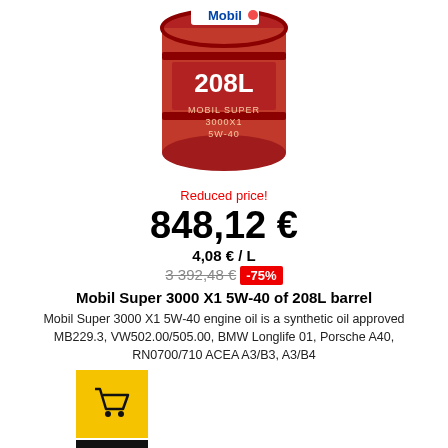[Figure (photo): Mobil Super 3000X1 5W-40 208L red barrel/drum with Mobil logo]
Reduced price!
848,12 €
4,08 € / L
3 392,48 € -75%
Mobil Super 3000 X1 5W-40 of 208L barrel
Mobil Super 3000 X1 5W-40 engine oil is a synthetic oil approved MB229.3, VW502.00/505.00, BMW Longlife 01, Porsche A40, RN0700/710 ACEA A3/B3, A3/B4
[Figure (illustration): Yellow shopping cart button]
More